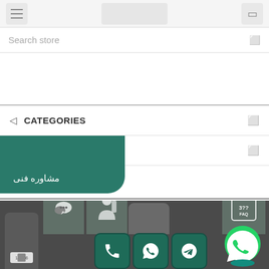[Figure (screenshot): Mobile app top navigation bar with hamburger menu, logo placeholder, and cart icon]
Search store
CATEGORIES
CTURERS
مشاوره فنی
[Figure (screenshot): Bottom navigation area with dark background showing app icon cards with chat, FAQ, phone icons, and green WhatsApp/Telegram action buttons]